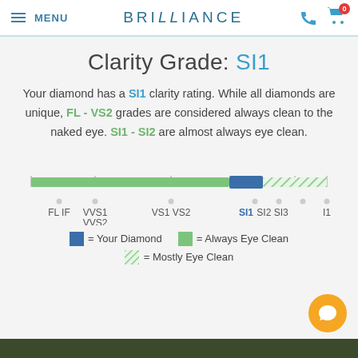MENU | BRILLIANCE
Clarity Grade: SI1
Your diamond has a SI1 clarity rating. While all diamonds are unique, FL - VS2 grades are considered always clean to the naked eye. SI1 - SI2 are almost always eye clean.
[Figure (infographic): Horizontal clarity grade scale bar showing FL IF, VVS1 VVS2, VS1 VS2, SI1 SI2 SI3, I1 positions. Green bar from FL to VS2 (always eye clean), blue bar at SI1 (your diamond), hatched green bar from SI2 to I1 (mostly eye clean). Labels below and dots below each section.]
= Your Diamond   = Always Eye Clean
= Mostly Eye Clean